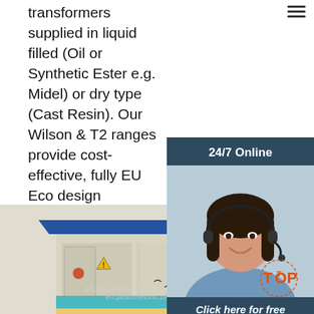transformers supplied in liquid filled (Oil or Synthetic Ester e.g. Midel) or dry type (Cast Resin). Our Wilson & T2 ranges provide cost-effective, fully EU Eco design compliant distribution ...
Get Price
24/7 Online
[Figure (photo): Customer service woman with headset smiling, representing 24/7 online support]
Click here for free chat !
QUOTATION
[Figure (photo): Compact transformer substation unit with blue roof and palm tree decoration, watermarked en.pearlelectric.com]
en.pearlelectric.com